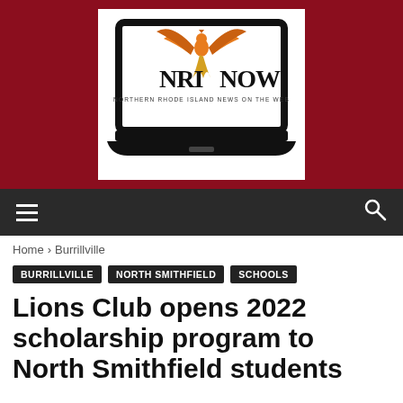[Figure (logo): NRI NOW logo — Northern Rhode Island News on the Web — showing a laptop computer with a phoenix/bird graphic above it, on a dark red background]
≡    🔍
Home › Burrillville
BURRILLVILLE   NORTH SMITHFIELD   SCHOOLS
Lions Club opens 2022 scholarship program to North Smithfield students